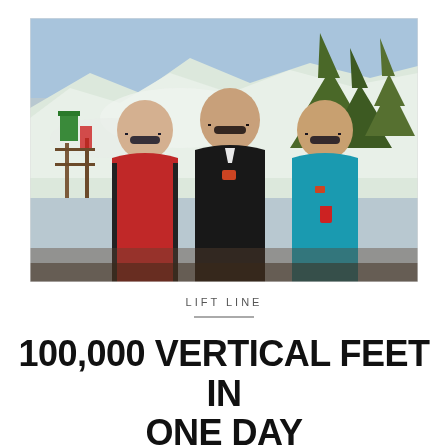[Figure (photo): Three men wearing sunglasses and ski jackets (red, black, teal/turquoise) posing together at a ski resort with snowy slopes and trees in the background on a sunny winter day.]
LIFT LINE
100,000 VERTICAL FEET IN ONE DAY